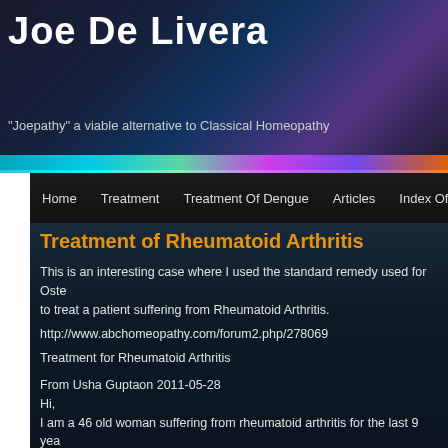Joe De Livera
"Joepathy" a viable alternative to Classical Homeopathy
Home | Treatment | Treatment Of Dengue | Articles | Index Of Ailments
Treatment of Rheumatoid Arthritis
This is an interesting case where I used the standard remedy used for Osteo to treat a patient suffering from Rheumatoid Arthritis.
http://www.abchomeopathy.com/forum2.php/278069
Treatment for Rheumatoid Arthritis
From Usha Guptaon 2011-05-28
Hi,
I am a 46 old woman suffering from rheumatoid arthritis for the last 9 years. tried allopathic medicine but I feel relief till I take the medicine. I feel swelling whole body and mostly on my ankle, fingers and toes, I even have stiffness muscle pain like in fever. The stiffness and swellings goes away if my bowels up. Is there any best homeopathic remedy to cure immune system disorder cause of rheumatoid arthritis? Even my mother and her parents suffered this